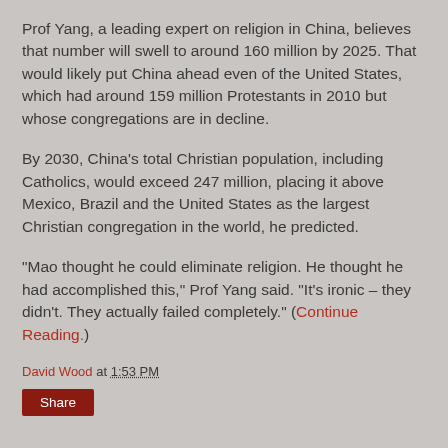Prof Yang, a leading expert on religion in China, believes that number will swell to around 160 million by 2025. That would likely put China ahead even of the United States, which had around 159 million Protestants in 2010 but whose congregations are in decline.
By 2030, China's total Christian population, including Catholics, would exceed 247 million, placing it above Mexico, Brazil and the United States as the largest Christian congregation in the world, he predicted.
"Mao thought he could eliminate religion. He thought he had accomplished this," Prof Yang said. "It's ironic – they didn't. They actually failed completely." (Continue Reading.)
David Wood at 1:53 PM
Share